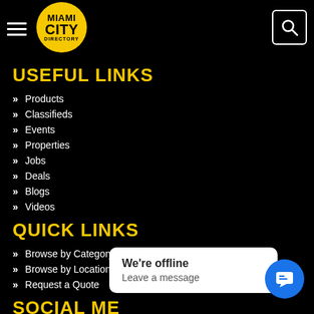Miami City Directory navigation header with hamburger menu and search button
USEFUL LINKS
Products
Classifieds
Events
Properties
Jobs
Deals
Blogs
Videos
QUICK LINKS
Browse by Category
Browse by Location
Request a Quote
SOCIAL ME
We're offline
Leave a message